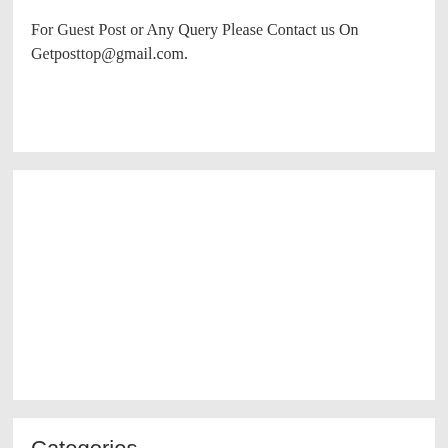For Guest Post or Any Query Please Contact us On Getposttop@gmail.com.
[Figure (other): White rectangular advertisement or empty content block]
Categories